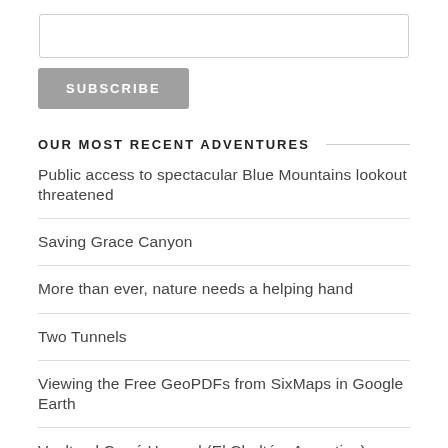[Figure (other): Empty text input box for email subscription]
SUBSCRIBE
OUR MOST RECENT ADVENTURES
Public access to spectacular Blue Mountains lookout threatened
Saving Grace Canyon
More than ever, nature needs a helping hand
Two Tunnels
Viewing the Free GeoPDFs from SixMaps in Google Earth
Vuelta al Cerró Huemul (El Chaltén, Argentina)
La Barrosa: a Partial Descent (Bajos del Toro, Costa Rica)